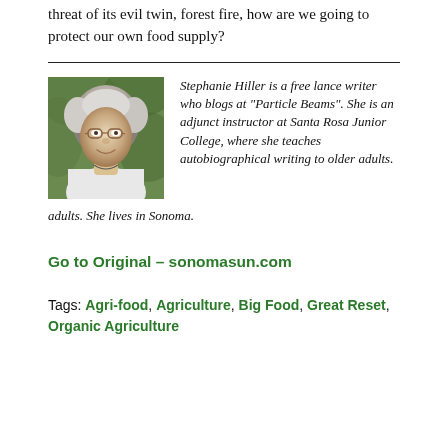climate change bringing mega-drought and the omnipresent threat of its evil twin, forest fire, how are we going to protect our own food supply?
[Figure (photo): Portrait photo of Stephanie Hiller, an older woman with curly white/gray hair and glasses, smiling, wearing a white top, outdoors with green foliage background.]
Stephanie Hiller is a free lance writer who blogs at “Particle Beams”. She is an adjunct instructor at Santa Rosa Junior College, where she teaches autobiographical writing to older adults. She lives in Sonoma.
Go to Original – sonomasun.com
Tags: Agri-food, Agriculture, Big Food, Great Reset, Organic Agriculture